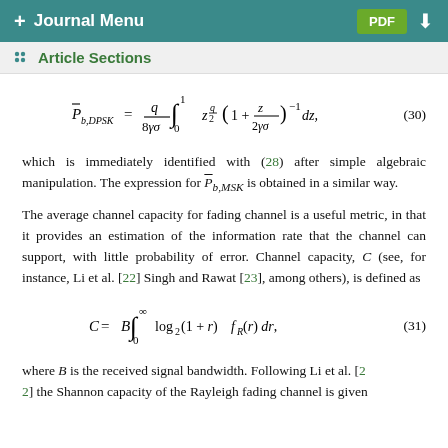+ Journal Menu   PDF ↓
Article Sections
which is immediately identified with (28) after simple algebraic manipulation. The expression for P̄_{b,MSK} is obtained in a similar way.
The average channel capacity for fading channel is a useful metric, in that it provides an estimation of the information rate that the channel can support, with little probability of error. Channel capacity, C (see, for instance, Li et al. [22] Singh and Rawat [23], among others), is defined as
where B is the received signal bandwidth. Following Li et al. [22] the Shannon capacity of the Rayleigh fading channel is given